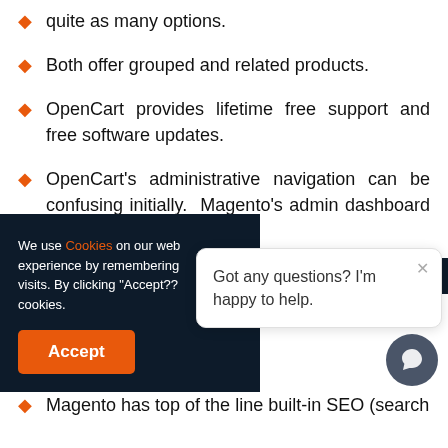quite as many options.
Both offer grouped and related products.
OpenCart provides lifetime free support and free software updates.
OpenCart's administrative navigation can be confusing initially. Magento's admin dashboard is very intuitive and simple.
We use Cookies on our web... experience by remembering... visits. By clicking "Accept??"... cookies.
Got any questions? I'm happy to help.
Magento has top of the line built-in SEO (search...